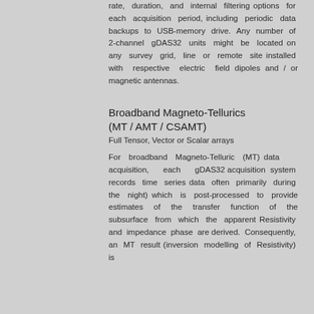rate, duration, and internal filtering options for each acquisition period, including periodic data backups to USB-memory drive. Any number of 2-channel gDAS32 units might be located on any survey grid, line or remote site installed with respective electric field dipoles and / or magnetic antennas.
Broadband Magneto-Tellurics (MT / AMT / CSAMT)
Full Tensor, Vector or Scalar arrays
For broadband Magneto-Telluric (MT) data acquisition, each gDAS32 acquisition system records time series data often primarily during the night) which is post-processed to provide estimates of the transfer function of the subsurface from which the apparent Resistivity and impedance phase are derived. Consequently, an MT result (inversion modelling of Resistivity) is